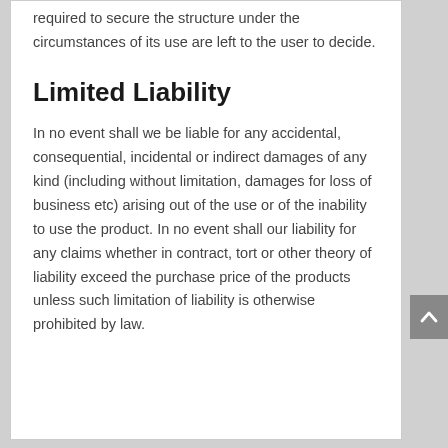required to secure the structure under the circumstances of its use are left to the user to decide.
Limited Liability
In no event shall we be liable for any accidental, consequential, incidental or indirect damages of any kind (including without limitation, damages for loss of business etc) arising out of the use or of the inability to use the product. In no event shall our liability for any claims whether in contract, tort or other theory of liability exceed the purchase price of the products unless such limitation of liability is otherwise prohibited by law.